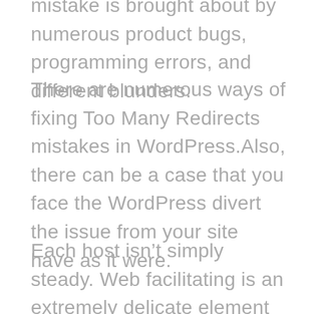mistake is brought about by numerous product bugs, programming errors, and different blunders.
There are numerous ways of fixing Too Many Redirects mistakes in WordPress.Also, there can be a case that you face the WordPress divert the issue from your site have as it were.
Each host isn't simply steady. Web facilitating is an extremely delicate element that assumes a part in nearly